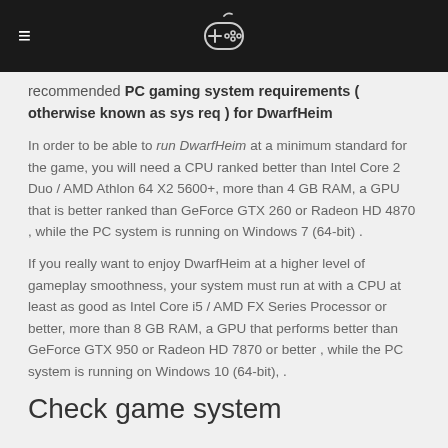≡ [gamepad logo]
recommended PC gaming system requirements ( otherwise known as sys req ) for DwarfHeim
In order to be able to run DwarfHeim at a minimum standard for the game, you will need a CPU ranked better than Intel Core 2 Duo / AMD Athlon 64 X2 5600+, more than 4 GB RAM, a GPU that is better ranked than GeForce GTX 260 or Radeon HD 4870 , while the PC system is running on Windows 7 (64-bit) .
If you really want to enjoy DwarfHeim at a higher level of gameplay smoothness, your system must run at with a CPU at least as good as Intel Core i5 / AMD FX Series Processor or better, more than 8 GB RAM, a GPU that performs better than GeForce GTX 950 or Radeon HD 7870 or better , while the PC system is running on Windows 10 (64-bit), .
Check game system